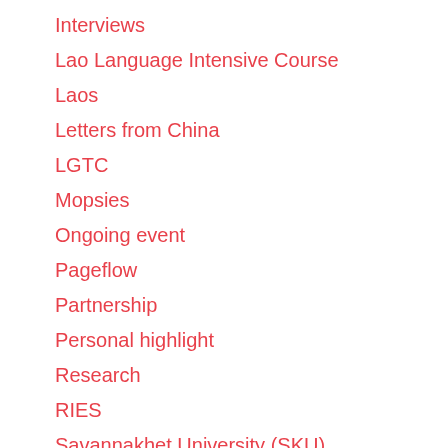Interviews
Lao Language Intensive Course
Laos
Letters from China
LGTC
Mopsies
Ongoing event
Pageflow
Partnership
Personal highlight
Research
RIES
Savannakhet University (SKU)
Science laboratory
Sunshine School
Teacher interviews